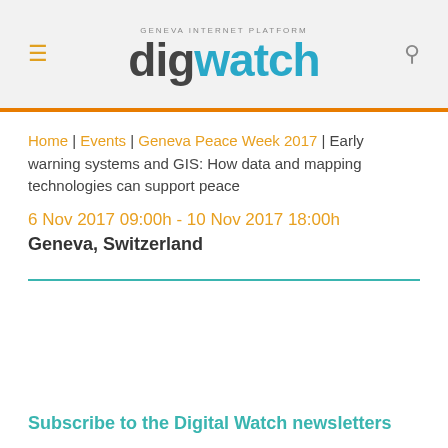digwatch — Geneva Internet Platform
Home | Events | Geneva Peace Week 2017 | Early warning systems and GIS: How data and mapping technologies can support peace
6 Nov 2017 09:00h - 10 Nov 2017 18:00h
Geneva, Switzerland
Subscribe to the Digital Watch newsletters